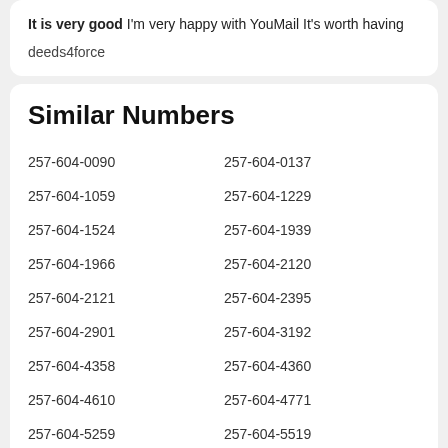It is very good I'm very happy with YouMail It's worth having
deeds4force
Similar Numbers
257-604-0090
257-604-0137
257-604-1059
257-604-1229
257-604-1524
257-604-1939
257-604-1966
257-604-2120
257-604-2121
257-604-2395
257-604-2901
257-604-3192
257-604-4358
257-604-4360
257-604-4610
257-604-4771
257-604-5259
257-604-5519
257-604-5558
257-604-5616